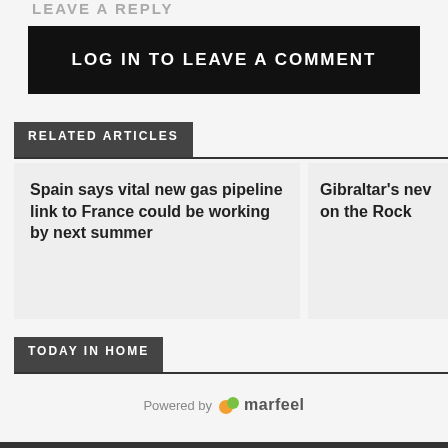LEAVE A REPLY
LOG IN TO LEAVE A COMMENT
RELATED ARTICLES
Spain says vital new gas pipeline link to France could be working by next summer
Gibraltar’s nev on the Rock
TODAY IN HOME
Powered by marfeel